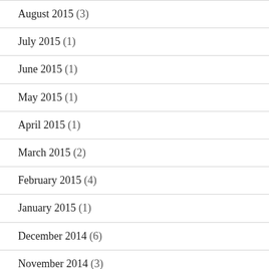August 2015 (3)
July 2015 (1)
June 2015 (1)
May 2015 (1)
April 2015 (1)
March 2015 (2)
February 2015 (4)
January 2015 (1)
December 2014 (6)
November 2014 (3)
October 2014 (1)